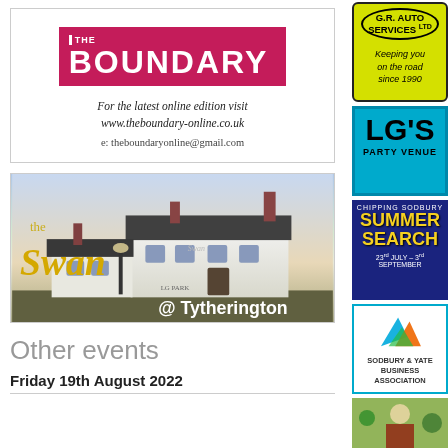[Figure (logo): The Boundary magazine logo — pink/crimson background with white text 'THE BOUNDARY', with tagline and website URL]
For the latest online edition visit www.theboundary-online.co.uk
e: theboundaryonline@gmail.com
[Figure (photo): The Swan @ Tytherington pub advertisement — illustrated rendering of a white English country pub with golden script text 'the Swan @ Tytherington']
Other events
Friday 19th August 2022
[Figure (logo): G.R. Auto Services Ltd advertisement — yellow/green background with oval border, text 'Keeping you on the road since 1990']
[Figure (logo): LG's Party Venue advertisement — blue background with large bold black text LG'S PARTY VENUE]
[Figure (logo): Chipping Sodbury Summer Search advertisement — dark blue background with yellow text SUMMER SEARCH, 23rd July – 3rd September]
[Figure (logo): Sodbury & Yate Business Association advertisement — white background with colourful arrow logo]
[Figure (photo): Partial photo of a person in school uniform with trees in background]